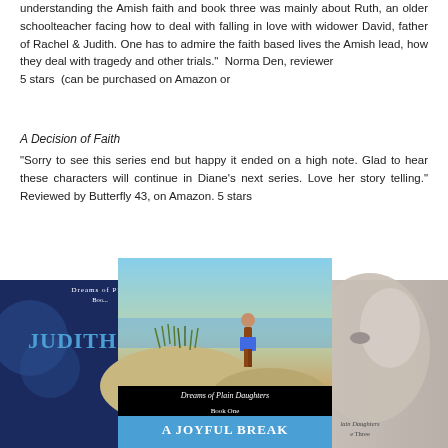understanding the Amish faith and book three was mainly about Ruth, an older schoolteacher facing how to deal with falling in love with widower David, father of Rachel & Judith. One has to admire the faith based lives the Amish lead, how they deal with tragedy and other trials."  Norma Den, reviewer
5 stars  (can be purchased on Amazon or
A Decision of Faith
"Sorry to see this series end but happy it ended on a high note. Glad to hear these characters will continue in Diane's next series. Love her story telling." Reviewed by Butterfly 43, on Amazon. 5 stars
[Figure (photo): Three overlapping book covers from the 'Dreams of Plain Daughters' series. Left cover shows 'Judith' with dark blue background and blue decorative text. Center cover shows 'A Joyful Break' Book One with a beach/dune scene photo of a person walking, black footer with series name and blue title bar. Right cover shows Book Three with a close-up of a woman's face.]